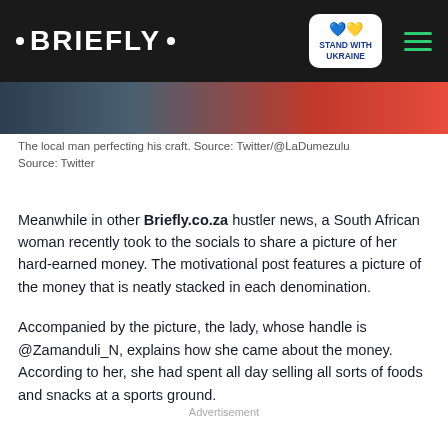• BRIEFLY •
[Figure (photo): Partial photo strip showing a local man perfecting his craft, blurred/cropped image at the top of the article]
The local man perfecting his craft. Source: Twitter/@LaDumezulu
Source: Twitter
Meanwhile in other Briefly.co.za hustler news, a South African woman recently took to the socials to share a picture of her hard-earned money. The motivational post features a picture of the money that is neatly stacked in each denomination.
Accompanied by the picture, the lady, whose handle is @Zamanduli_N, explains how she came about the money. According to her, she had spent all day selling all sorts of foods and snacks at a sports ground.
Advertisement